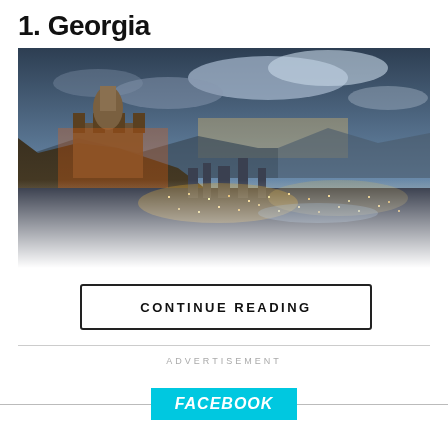1. Georgia
[Figure (photo): Panoramic dusk cityscape of Tbilisi, Georgia. A fortress and church are visible on a rocky hillside on the left, illuminated in orange light. The city spreads across the valley below with lights glowing, set against a dramatic sky with clouds and fading sunset colors. The bottom of the image fades to white/misty.]
CONTINUE READING
ADVERTISEMENT
FACEBOOK